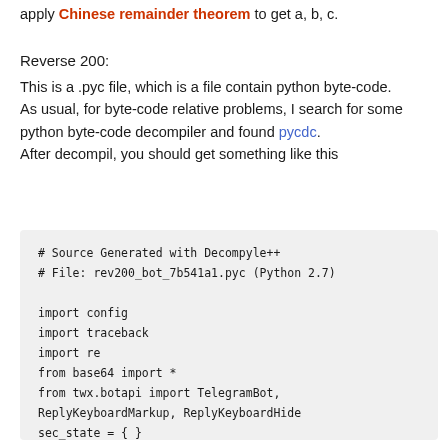apply Chinese remainder theorem to get a, b, c.
Reverse 200:
This is a .pyc file, which is a file contain python byte-code. As usual, for byte-code relative problems, I search for some python byte-code decompiler and found pycdc. After decompil, you should get something like this
# Source Generated with Decompyle++
# File: rev200_bot_7b541a1.pyc (Python 2.7)

import config
import traceback
import re
from base64 import *
from twx.botapi import TelegramBot,
ReplyKeyboardMarkup, ReplyKeyboardHide
sec_state = { }

def process_message(bot, u):